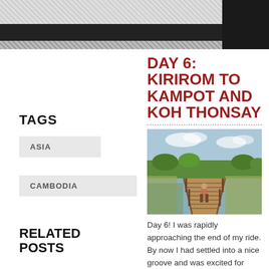Blog page header
TAGS
ASIA
CAMBODIA
RELATED POSTS
Cambodia Clip
Day 7: Kep to Phnom Penh
Day 5:
DAY 6: KIRIROM TO KAMPOT AND KOH THONSAY
[Figure (photo): Person standing on a wooden bridge over murky water with vegetation in background, Cambodia]
Day 6! I was rapidly approaching the end of my ride. By now I had settled into a nice groove and was excited for more. What a change from Day 1!
We woke up at 7AM and set off...